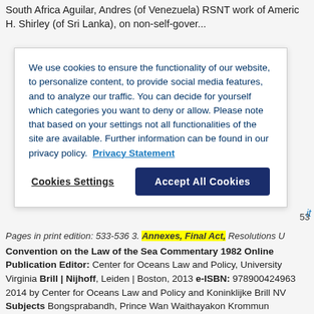South Africa Aguilar, Andres (of Venezuela) RSNT work of America H. Shirley (of Sri Lanka), on non-self-gover...
We use cookies to ensure the functionality of our website, to personalize content, to provide social media features, and to analyze our traffic. You can decide for yourself which categories you want to deny or allow. Please note that based on your settings not all functionalities of the site are available. Further information can be found in our privacy policy. Privacy Statement
Cookies Settings | Accept All Cookies
it
53
Pages in print edition: 533-536 3. Annexes, Final Act, Resolutions U
Convention on the Law of the Sea Commentary 1982 Online Publication Editor: Center for Oceans Law and Policy, University of Virginia Brill | Nijhoff, Leiden | Boston, 2013 e-ISBN: 9789004249639 2014 by Center for Oceans Law and Policy and Koninklijke Brill NV Subjects Bongsprabandh, Prince Wan Waithayakon Krommun Naradhip (of Thailand) Committee of the Whole (UNCLOS II) Final Act (UNCLOS II) Fisheries and fishery resources assistance to Observ...
Source: United Nations Convention on the Law of the Sea